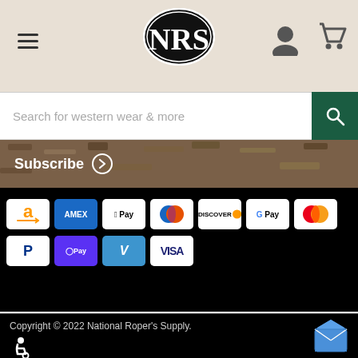[Figure (logo): NRS (National Roper's Supply) logo — black oval with white serif letters NRS]
Search for western wear & more
Subscribe
[Figure (infographic): Payment method icons: Amazon Pay, Amex, Apple Pay, Diners Club, Discover, Google Pay, Mastercard, PayPal, Shop Pay, Venmo, Visa]
Copyright © 2022 National Roper's Supply.